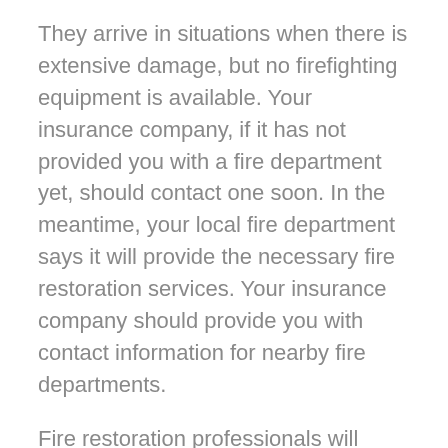They arrive in situations when there is extensive damage, but no firefighting equipment is available. Your insurance company, if it has not provided you with a fire department yet, should contact one soon. In the meantime, your local fire department says it will provide the necessary fire restoration services. Your insurance company should provide you with contact information for nearby fire departments.
Fire restoration professionals will remove and dispose of all combustible material. They may also check for asbestos, lead, toxins, mold, fungi, bacteria, radon, and other toxins present in your house or business. They can remove any remaining debris, safely and completely, to ensure it does not spread to other areas of your home or business. They can collect and evaluate any damaged materials and debris to